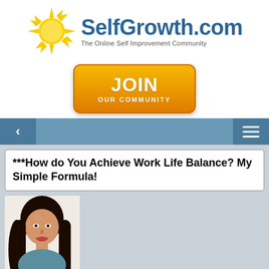[Figure (logo): SelfGrowth.com logo with yellow sun graphic and text 'The Online Self Improvement Community']
[Figure (infographic): Orange 'JOIN OUR COMMUNITY' button]
[Figure (infographic): Navigation bar with back arrow and menu icon]
***How do You Achieve Work Life Balance? My Simple Formula!
[Figure (photo): Photo of a woman with dark hair smiling]
By Donna Abrahams, the Official Guide for Small Busi...